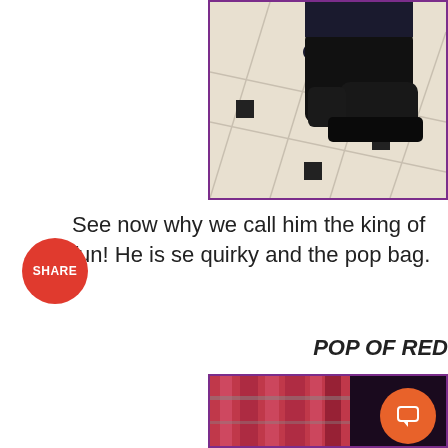[Figure (photo): Close-up of person wearing black high-top sneakers standing on white marble tile floor with black square insets]
See now why we call him the king of fun! He is se quirky and the pop bag.
POP OF RED
[Figure (photo): Curtains or fabric in shades of red/pink and dark purple/black]